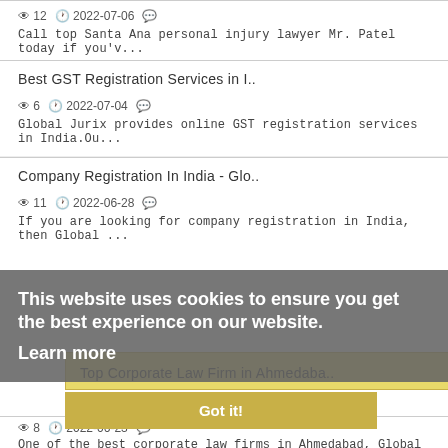12  2022-07-06
Call top Santa Ana personal injury lawyer Mr. Patel today if you'v...
Best GST Registration Services in I..
6  2022-07-04
Global Jurix provides online GST registration services in India.Ou...
Company Registration In India - Glo..
11  2022-06-28
If you are looking for company registration in India, then Global ...
This website uses cookies to ensure you get the best experience on our website. Learn more
Top Corporate Law Firm in Ahmedaba..
8  2022-06-23
One of the best corporate law firms in Ahmedabad, Global Jurix is